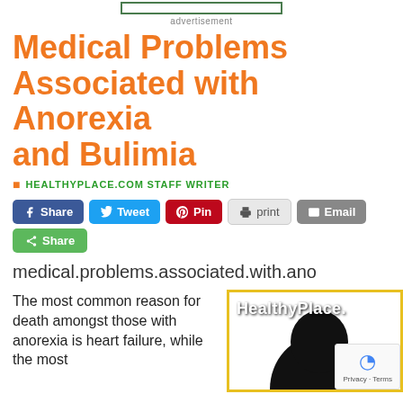[Figure (other): Green bordered advertisement bar at top of page]
advertisement
Medical Problems Associated with Anorexia and Bulimia
HEALTHYPLACE.COM STAFF WRITER
[Figure (screenshot): Social sharing buttons: Share (Facebook), Tweet, Pin, print, Email, Share (green)]
medical.problems.associated.with.ano
The most common reason for death amongst those with anorexia is heart failure, while the most
[Figure (photo): Photo of a person with dark hair, with HealthyPlace.com logo overlay and reCAPTCHA widget in corner]